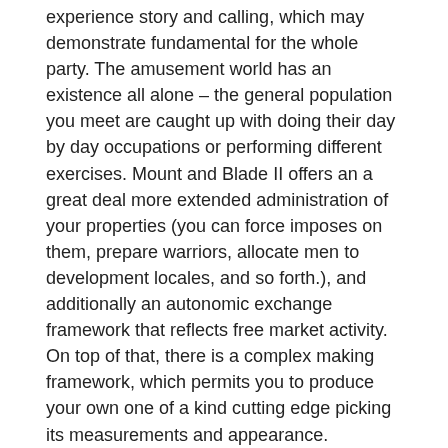experience story and calling, which may demonstrate fundamental for the whole party. The amusement world has an existence all alone – the general population you meet are caught up with doing their day by day occupations or performing different exercises. Mount and Blade II offers an a great deal more extended administration of your properties (you can force imposes on them, prepare warriors, allocate men to development locales, and so forth.), and additionally an autonomic exchange framework that reflects free market activity. On top of that, there is a complex making framework, which permits you to produce your own one of a kind cutting edge picking its measurements and appearance.
Contrasted with its forerunners, Mount and Blade II gloats eminently upgraded audiovisuals, as its in view of a shiny new restrictive diversion motor. The change is noticeable in appearance and intelligence of areas, and in addition in fights – particularly those with numerous warriors included (e.g. attacks). Fights are affected by components, for example, time of year and evolving climate. In addition, every encounter can be firmly examined with the utilization of an amazing replay framework. Obviously, the engineers did not disregard the modding group, furnishing the players with a capable,